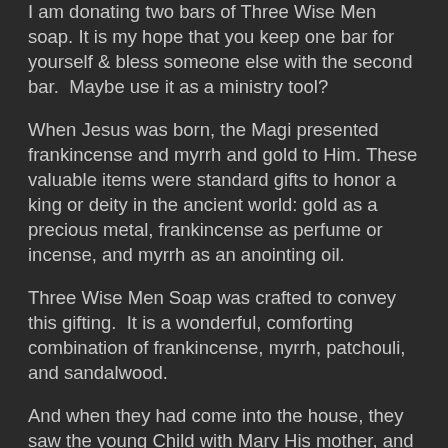I am donating two bars of Three Wise Men soap. It is my hope that you keep one bar for yourself & bless someone else with the second bar.  Maybe use it as a ministry tool?
When Jesus was born, the Magi presented frankincense and myrrh and gold to Him. These valuable items were standard gifts to honor a king or deity in the ancient world: gold as a precious metal, frankincense as perfume or incense, and myrrh as an anointing oil.
Three Wise Men Soap was crafted to convey this gifting.  It is a wonderful, comforting combination of frankincense, myrrh, patchouli, and sandalwood.
And when they had come into the house, they saw the young Child with Mary His mother, and fell down and worshiped Him. And when they had opened their treasures, they presented gifts to